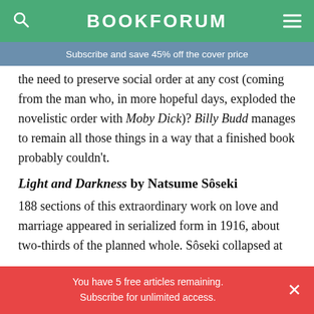BOOKFORUM
Subscribe and save 45% off the cover price
the need to preserve social order at any cost (coming from the man who, in more hopeful days, exploded the novelistic order with Moby Dick)? Billy Budd manages to remain all those things in a way that a finished book probably couldn't.
Light and Darkness by Natsume Sôseki
188 sections of this extraordinary work on love and marriage appeared in serialized form in 1916, about two-thirds of the planned whole. Sôseki collapsed at
You have 5 free articles remaining. Subscribe for unlimited access.